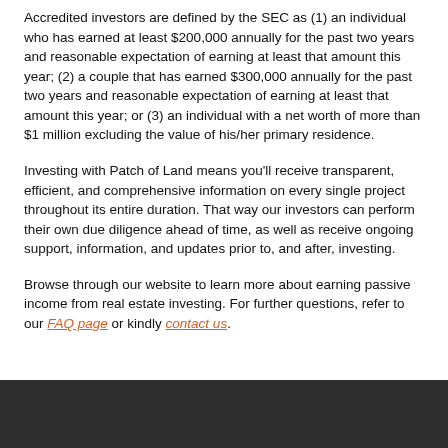Accredited investors are defined by the SEC as (1) an individual who has earned at least $200,000 annually for the past two years and reasonable expectation of earning at least that amount this year; (2) a couple that has earned $300,000 annually for the past two years and reasonable expectation of earning at least that amount this year; or (3) an individual with a net worth of more than $1 million excluding the value of his/her primary residence.
Investing with Patch of Land means you'll receive transparent, efficient, and comprehensive information on every single project throughout its entire duration. That way our investors can perform their own due diligence ahead of time, as well as receive ongoing support, information, and updates prior to, and after, investing.
Browse through our website to learn more about earning passive income from real estate investing. For further questions, refer to our FAQ page or kindly contact us.